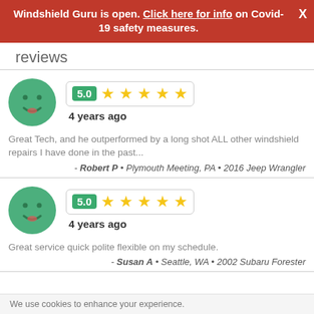Windshield Guru is open. Click here for info on Covid-19 safety measures.
reviews
Great Tech, and he outperformed by a long shot ALL other windshield repairs I have done in the past...
- Robert P • Plymouth Meeting, PA • 2016 Jeep Wrangler
Great service quick polite flexible on my schedule.
- Susan A • Seattle, WA • 2002 Subaru Forester
We use cookies to enhance your experience.